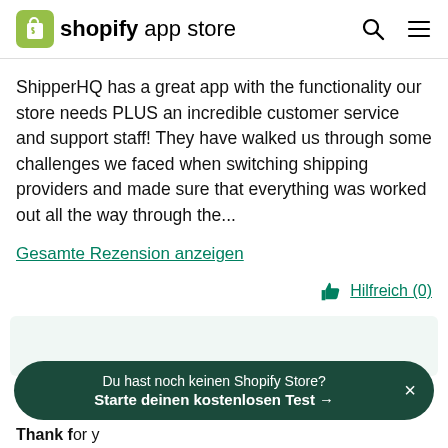shopify app store
ShipperHQ has a great app with the functionality our store needs PLUS an incredible customer service and support staff! They have walked us through some challenges we faced when switching shipping providers and made sure that everything was worked out all the way through the...
Gesamte Rezension anzeigen
Hilfreich (0)
Du hast noch keinen Shopify Store? Starte deinen kostenlosen Test →